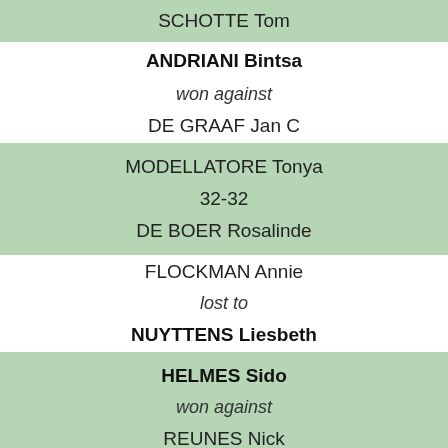SCHOTTE Tom
ANDRIANI Bintsa
won against
DE GRAAF Jan C
MODELLATORE Tonya
32-32
DE BOER Rosalinde
FLOCKMAN Annie
lost to
NUYTTENS Liesbeth
HELMES Sido
won against
REUNES Nick
DE BOER Akke-Lien